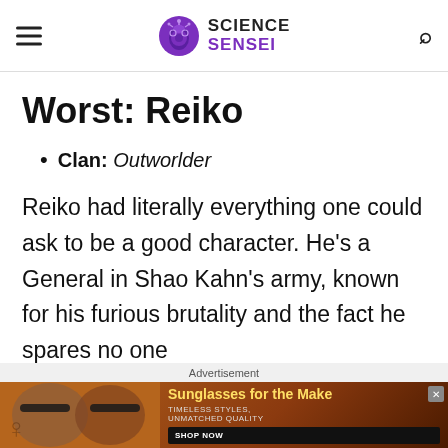Science Sensei
Worst: Reiko
Clan: Outworlder
Reiko had literally everything one could ask to be a good character. He’s a General in Shao Kahn’s army, known for his furious brutality and the fact he spares no one
[Figure (photo): Advertisement banner showing women wearing sunglasses with text 'Sunglasses for the Make', 'TIMELESS STYLES, UNMATCHED QUALITY', and a 'SHOP NOW' button]